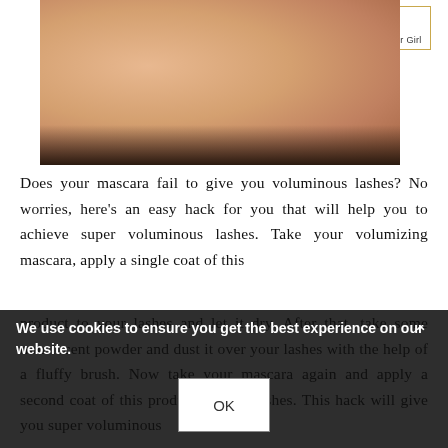[Figure (photo): Close-up photo of skin (forehead/face area) with dark hair at the bottom, showing skin texture. Part of a beauty/makeup blog post.]
My Lavender Girl
Does your mascara fail to give you voluminous lashes? No worries, here's an easy hack for you that will help you to achieve super voluminous lashes. Take your volumizing mascara, apply a single coat of this product to your lashes and let it dry. After that, take some translucent powder and dust it over your lashes with the help of a fluffy brush. Now take your mascara again and apply a second coat of this product to your lashes. This hack will give you super voluminous
We use cookies to ensure you get the best experience on our website.
OK